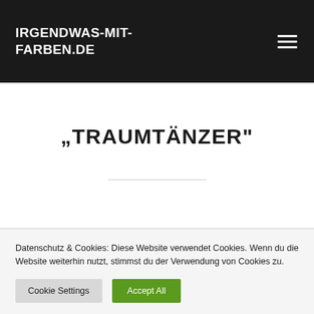IRGENDWAS-MIT-FARBEN.DE
„TRAUMTÄNZER“
Datenschutz & Cookies: Diese Website verwendet Cookies. Wenn du die Website weiterhin nutzt, stimmst du der Verwendung von Cookies zu.
Cookie Settings | Accept All